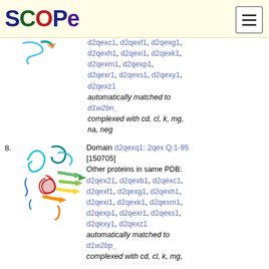SCOPe
d2qexc1, d2qexf1, d2qexg1, d2qexh1, d2qexi1, d2qexk1, d2qexm1, d2qexp1, d2qexr1, d2qexs1, d2qexy1, d2qexz1 automatically matched to d1w2bn_ complexed with cd, cl, k, mg, na, neg
[Figure (illustration): Protein structure ribbon diagram for domain entry 8]
8. Domain d2qexq1: 2qex Q:1-95 [150705] Other proteins in same PDB: d2qex21, d2qexb1, d2qexc1, d2qexf1, d2qexg1, d2qexh1, d2qexi1, d2qexk1, d2qexm1, d2qexp1, d2qexr1, d2qexs1, d2qexy1, d2qexz1 automatically matched to d1w2bp_ complexed with cd, cl, k, mg,